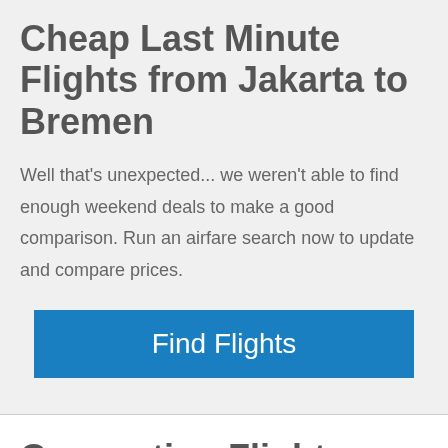Cheap Last Minute Flights from Jakarta to Bremen
Well that's unexpected... we weren't able to find enough weekend deals to make a good comparison. Run an airfare search now to update and compare prices.
[Figure (other): Blue 'Find Flights' button]
Connecting Flights vs Direct Flights from Jakarta to